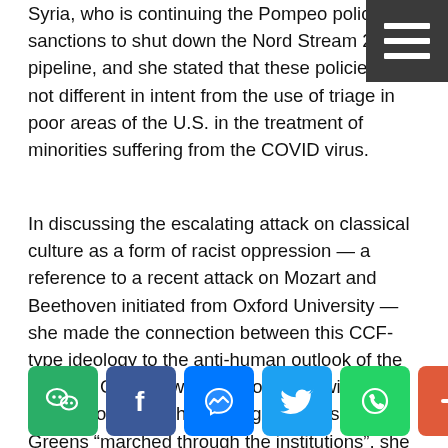Syria, who is continuing the Pompeo policy of sanctions to shut down the Nord Stream 2 pipeline, and she stated that these policies are not different in intent from the use of triage in poor areas of the U.S. in the treatment of minorities suffering from the COVID virus.
In discussing the escalating attack on classical culture as a form of racist oppression — a reference to a recent attack on Mozart and Beethoven initiated from Oxford University — she made the connection between this CCF-type ideology to the anti-human outlook of the German Greens, who are hoping to win the chancellorship in the coming elections. The Greens “marched through the institutions”, she said, backed by the Military Industrial Complex — but they are still ‘’68ers”, Maoist “cultural revolutionaries” in many ways, in their outlook.
[Figure (infographic): Social sharing buttons: WeChat, Facebook, Messenger, Twitter, WhatsApp, and a More (+) button]